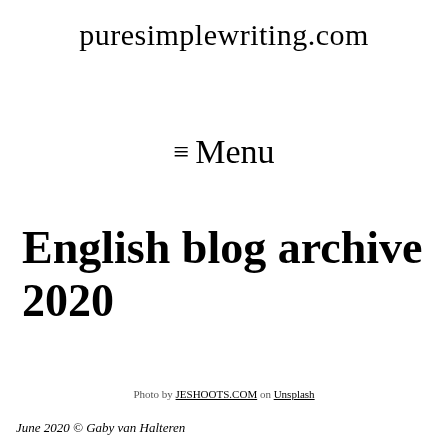puresimplewriting.com
≡ Menu
English blog archive 2020
Photo by JESHOOTS.COM on Unsplash
June 2020 © Gaby van Halteren